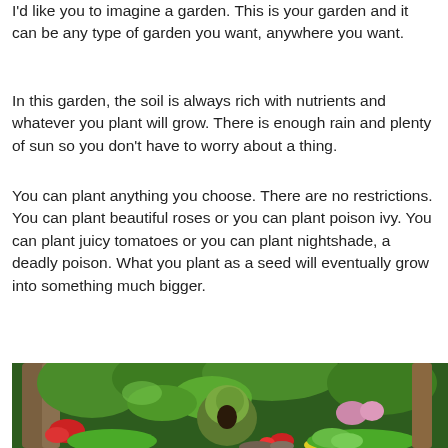I'd like you to imagine a garden. This is your garden and it can be any type of garden you want, anywhere you want.
In this garden, the soil is always rich with nutrients and whatever you plant will grow. There is enough rain and plenty of sun so you don't have to worry about a thing.
You can plant anything you choose. There are no restrictions. You can plant beautiful roses or you can plant poison ivy. You can plant juicy tomatoes or you can plant nightshade, a deadly poison. What you plant as a seed will eventually grow into something much bigger.
[Figure (photo): A lush garden scene with tall trees, ferns, moss-covered structures, flowering plants including red and pink flowers, and dense green foliage.]